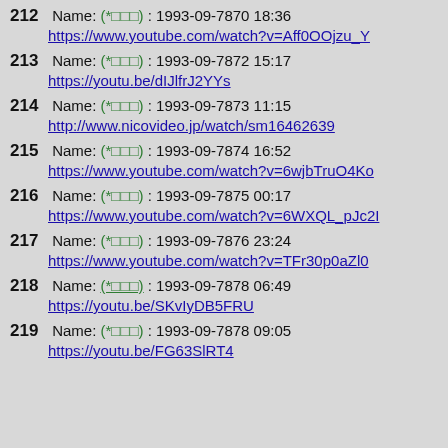212  Name: (*□□□) : 1993-09-7870 18:36
https://www.youtube.com/watch?v=Aff0OOjzu_Y
213  Name: (*□□□) : 1993-09-7872 15:17
https://youtu.be/dIJlfrJ2YYs
214  Name: (*□□□) : 1993-09-7873 11:15
http://www.nicovideo.jp/watch/sm16462639
215  Name: (*□□□) : 1993-09-7874 16:52
https://www.youtube.com/watch?v=6wjbTruO4Ko
216  Name: (*□□□) : 1993-09-7875 00:17
https://www.youtube.com/watch?v=6WXQL_pJc2I
217  Name: (*□□□) : 1993-09-7876 23:24
https://www.youtube.com/watch?v=TFr30p0aZl0
218  Name: (*□□□) : 1993-09-7878 06:49
https://youtu.be/SKvIyDB5FRU
219  Name: (*□□□) : 1993-09-7878 09:05
https://youtu.be/FG63SlRT4...